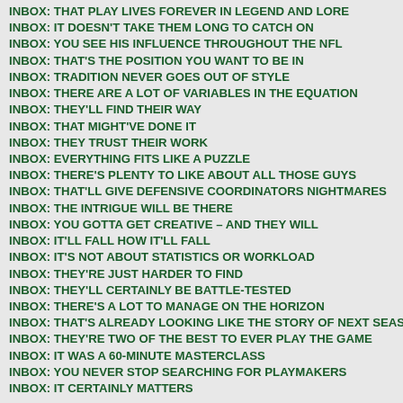INBOX: THAT PLAY LIVES FOREVER IN LEGEND AND LORE
INBOX: IT DOESN'T TAKE THEM LONG TO CATCH ON
INBOX: YOU SEE HIS INFLUENCE THROUGHOUT THE NFL
INBOX: THAT'S THE POSITION YOU WANT TO BE IN
INBOX: TRADITION NEVER GOES OUT OF STYLE
INBOX: THERE ARE A LOT OF VARIABLES IN THE EQUATION
INBOX: THEY'LL FIND THEIR WAY
INBOX: THAT MIGHT'VE DONE IT
INBOX: THEY TRUST THEIR WORK
INBOX: EVERYTHING FITS LIKE A PUZZLE
INBOX: THERE'S PLENTY TO LIKE ABOUT ALL THOSE GUYS
INBOX: THAT'LL GIVE DEFENSIVE COORDINATORS NIGHTMARES
INBOX: THE INTRIGUE WILL BE THERE
INBOX: YOU GOTTA GET CREATIVE – AND THEY WILL
INBOX: IT'LL FALL HOW IT'LL FALL
INBOX: IT'S NOT ABOUT STATISTICS OR WORKLOAD
INBOX: THEY'RE JUST HARDER TO FIND
INBOX: THEY'LL CERTAINLY BE BATTLE-TESTED
INBOX: THERE'S A LOT TO MANAGE ON THE HORIZON
INBOX: THAT'S ALREADY LOOKING LIKE THE STORY OF NEXT SEASON
INBOX: THEY'RE TWO OF THE BEST TO EVER PLAY THE GAME
INBOX: IT WAS A 60-MINUTE MASTERCLASS
INBOX: YOU NEVER STOP SEARCHING FOR PLAYMAKERS
INBOX: ITERTAINLY MATTERS